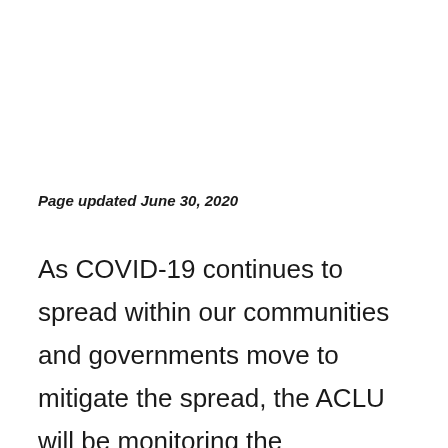Page updated June 30, 2020
As COVID-19 continues to spread within our communities and governments move to mitigate the spread, the ACLU will be monitoring the government's response to ensure that it is no more intrusive on civil liberties than absolutely necessary and that any